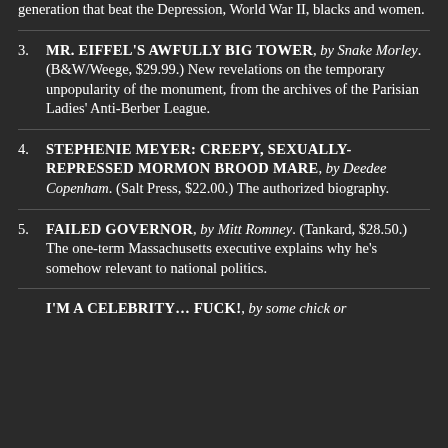generation that beat the Depression, World War II, blacks and women.
MR. EIFFEL'S AWFULLY BIG TOWER, by Snake Morley. (B&W/Weege, $29.99.) New revelations on the temporary unpopularity of the monument, from the archives of the Parisian Ladies' Anti-Berber League.
STEPHENIE MEYER: CREEPY, SEXUALLY-REPRESSED MORMON BROOD MARE, by Deedee Copenham. (Salt Press, $22.00.) The authorized biography.
FAILED GOVERNOR, by Mitt Romney. (Tankard, $28.50.) The one-term Massachusetts executive explains why he's somehow relevant to national politics.
I'M A CELEBRITY... FUCK!, by some chick or